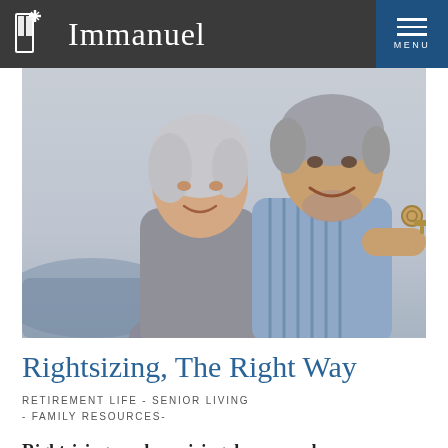Immanuel
[Figure (photo): A smiling older couple, a woman with white/gray hair and a man with gray hair holding up house keys, suggesting a home purchase or retirement living context.]
Rightsizing, The Right Way
RETIREMENT LIFE - SENIOR LIVING - FAMILY RESOURCES-
Rightsizing, or downsizing, has never been more important for retirees. Finding a home that fits